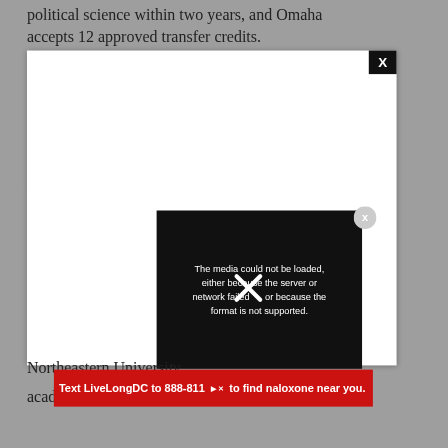political science within two years, and Omaha accepts 12 approved transfer credits.
[Figure (screenshot): A web page screenshot showing a white modal/popup overlay on a grey background. The modal has a black 'X' close button at the top right. Inside the modal area, a video player overlay shows a black error box with white text: 'The media could not be loaded, either because the server or network failed or because the format is not supported.' A large white X icon is shown in the center of the error box. A circular grey close button with an X is on the right side outside the error box.]
[Figure (screenshot): A red advertisement banner at the bottom of the page reading 'Text LiveLongDC to 888-811 to find naloxone near you.' with a close button.]
Northeastern Universi... acad...